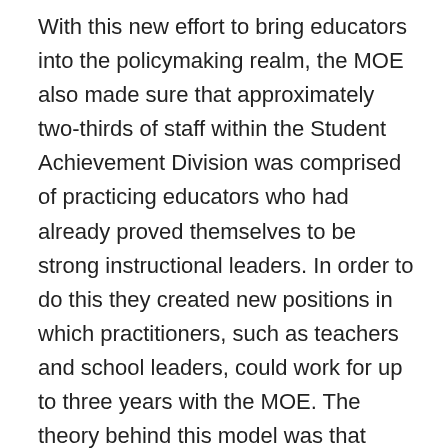With this new effort to bring educators into the policymaking realm, the MOE also made sure that approximately two-thirds of staff within the Student Achievement Division was comprised of practicing educators who had already proved themselves to be strong instructional leaders. In order to do this they created new positions in which practitioners, such as teachers and school leaders, could work for up to three years with the MOE. The theory behind this model was that working closely with “front-line” educators would build the capacity of both those who worked in the field, as well as those who worked in the central offices. Franz pointed out that working with educators on the creation of new policy helps the MOE officials by providing perspective on how such policy might “land” in schools. Additionally, once those educators complete their temporary positions in the